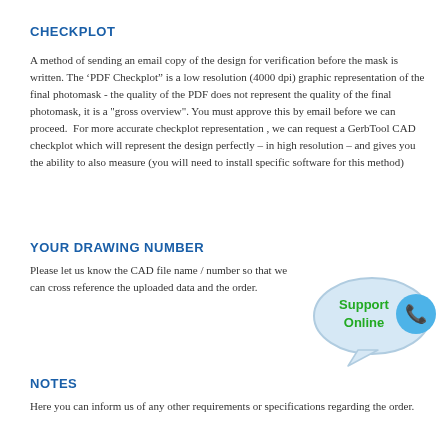CHECKPLOT
A method of sending an email copy of the design for verification before the mask is written. The ‘PDF Checkplot” is a low resolution (4000 dpi) graphic representation of the final photomask - the quality of the PDF does not represent the quality of the final photomask, it is a "gross overview". You must approve this by email before we can proceed.  For more accurate checkplot representation , we can request a GerbTool CAD checkplot which will represent the design perfectly – in high resolution – and gives you the ability to also measure (you will need to install specific software for this method)
YOUR DRAWING NUMBER
Please let us know the CAD file name / number so that we can cross reference the uploaded data and the order.
[Figure (illustration): Support Online speech bubble with phone icon]
NOTES
Here you can inform us of any other requirements or specifications regarding the order.